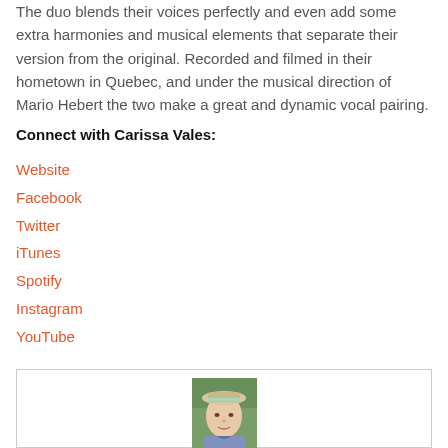The duo blends their voices perfectly and even add some extra harmonies and musical elements that separate their version from the original. Recorded and filmed in their hometown in Quebec, and under the musical direction of Mario Hebert the two make a great and dynamic vocal pairing.
Connect with Carissa Vales:
Website
Facebook
Twitter
iTunes
Spotify
Instagram
YouTube
[Figure (photo): A small portrait photo of a woman wearing a hat, outdoors with greenery in the background.]